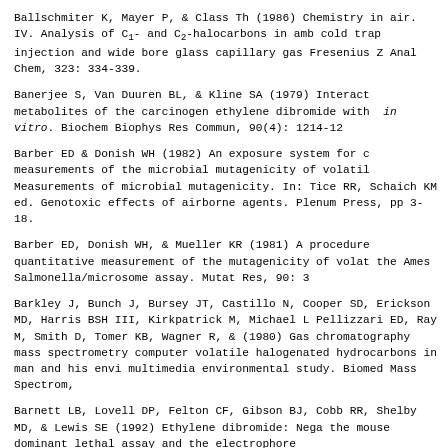Ballschmiter K, Mayer P, & Class Th (1986) Chemistry in air. IV. Analysis of C1- and C2-halocarbons in amb cold trap injection and wide bore glass capillary gas Fresenius Z Anal Chem, 323: 334-339.
Banerjee S, Van Duuren BL, & Kline SA (1979) Interact metabolites of the carcinogen ethylene dibromide with in vitro. Biochem Biophys Res Commun, 90(4): 1214-12
Barber ED & Donish WH (1982) An exposure system for c measurements of the microbial mutagenicity of volatil Measurements of microbial mutagenicity. In: Tice RR, Schaich KM ed. Genotoxic effects of airborne agents. Plenum Press, pp 3-18.
Barber ED, Donish WH, & Mueller KR (1981) A procedure quantitative measurement of the mutagenicity of volat the Ames Salmonella/microsome assay. Mutat Res, 90: 3
Barkley J, Bunch J, Bursey JT, Castillo N, Cooper SD, Erickson MD, Harris BSH III, Kirkpatrick M, Michael L Pellizzari ED, Ray M, Smith D, Tomer KB, Wagner R, & (1980) Gas chromatography mass spectrometry computer volatile halogenated hydrocarbons in man and his envi multimedia environmental study. Biomed Mass Spectrom,
Barnett LB, Lovell DP, Felton CF, Gibson BJ, Cobb RR, Shelby MD, & Lewis SE (1992) Ethylene dibromide: Nega the mouse dominant lethal assay and the electrophore